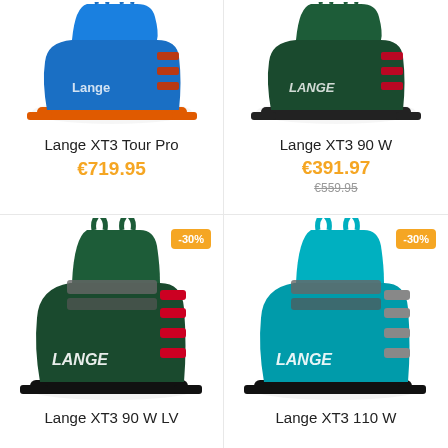[Figure (photo): Blue Lange XT3 Tour Pro ski boot - alpine touring style with orange sole and buckles]
Lange XT3 Tour Pro
€719.95
[Figure (photo): Dark green Lange XT3 90 W ski boot with red accents and buckles]
Lange XT3 90 W
€391.97
€559.95
[Figure (photo): Dark green full Lange XT3 90 W LV ski boot with red buckles and -30% badge]
Lange XT3 90 W LV
[Figure (photo): Teal/turquoise Lange XT3 110 W ski boot with buckles and -30% badge]
Lange XT3 110 W